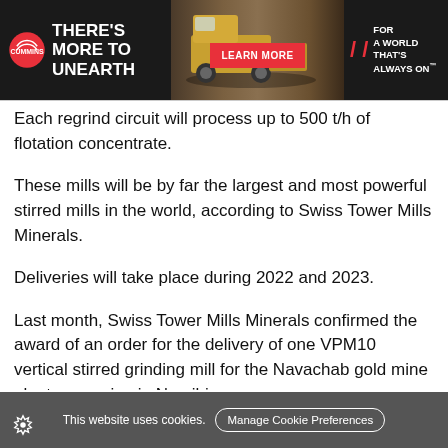[Figure (infographic): Cummins advertisement banner. Black background with white bold text 'THERE'S MORE TO UNEARTH' on the left next to a Cummins logo. Center shows a mining truck on rocky terrain background. A red 'LEARN MORE' button. Right side has red double-slash marks and white text 'FOR A WORLD THAT'S ALWAYS ON'.]
Each regrind circuit will process up to 500 t/h of flotation concentrate.
These mills will be by far the largest and most powerful stirred mills in the world, according to Swiss Tower Mills Minerals.
Deliveries will take place during 2022 and 2023.
Last month, Swiss Tower Mills Minerals confirmed the award of an order for the delivery of one VPM10 vertical stirred grinding mill for the Navachab gold mine plant expansion in Namibia.
This website uses cookies.  Manage Cookie Preferences